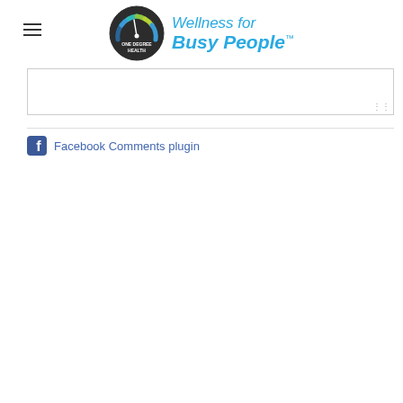[Figure (logo): One Degree Health logo with circular gauge icon and 'Wellness for Busy People TM' text in blue italic script]
[Figure (screenshot): Empty comment text area input box with dotted resize handle in bottom right corner]
Facebook Comments plugin